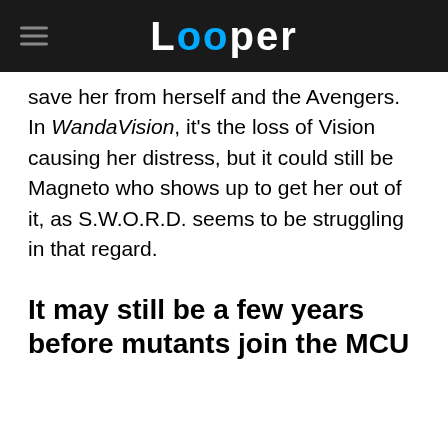Looper
save her from herself and the Avengers. In WandaVision, it's the loss of Vision causing her distress, but it could still be Magneto who shows up to get her out of it, as S.W.O.R.D. seems to be struggling in that regard.
It may still be a few years before mutants join the MCU